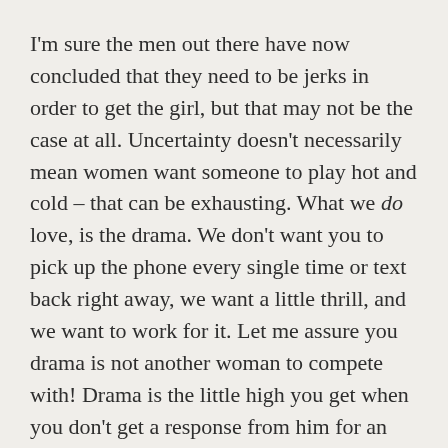I'm sure the men out there have now concluded that they need to be jerks in order to get the girl, but that may not be the case at all. Uncertainty doesn't necessarily mean women want someone to play hot and cold – that can be exhausting. What we do love, is the drama. We don't want you to pick up the phone every single time or text back right away, we want a little thrill, and we want to work for it. Let me assure you drama is not another woman to compete with! Drama is the little high you get when you don't get a response from him for an hour and you have to wonder where he is. But when he finally does call, all is remedied and he was simply taking a cat nap after a long day of running in and out of burning buildings.
What I found problematic about this study is that, as per usual, it was done with college undergraduates. A